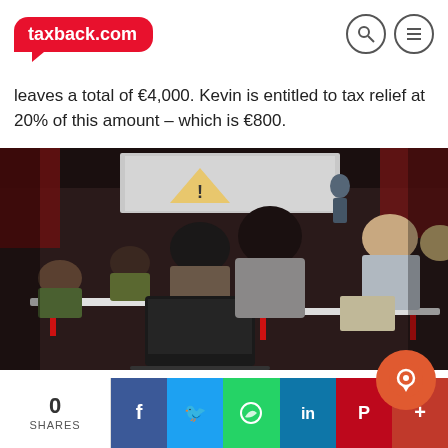taxback.com
leaves a total of €4,000. Kevin is entitled to tax relief at 20% of this amount – which is €800.
[Figure (photo): Students sitting in a university lecture hall viewed from behind, a woman in the foreground typing on a laptop, an instructor visible at the front near a screen.]
0 SHARES | Facebook | Twitter | WhatsApp | LinkedIn | Pinterest | More